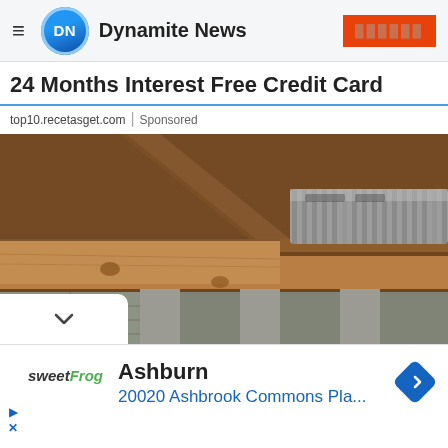Dynamite News
24 Months Interest Free Credit Card
top10.recetasget.com | Sponsored
[Figure (photo): Crawlspace or basement under-floor view showing wooden joists, beams, and silver flexible HVAC ductwork against a background of concrete block walls.]
Ashburn
20020 Ashbrook Commons Pla...